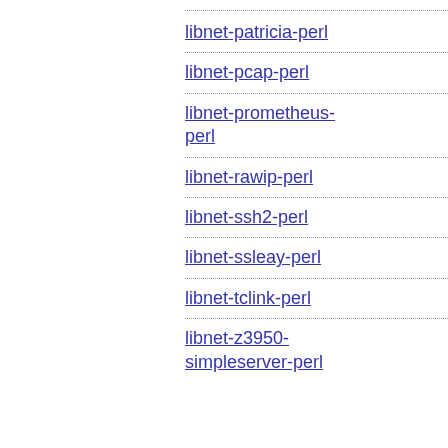libnet-patricia-perl
libnet-pcap-perl
libnet-prometheus-perl
libnet-rawip-perl
libnet-ssh2-perl
libnet-ssleay-perl
libnet-tclink-perl
libnet-z3950-simpleserver-perl